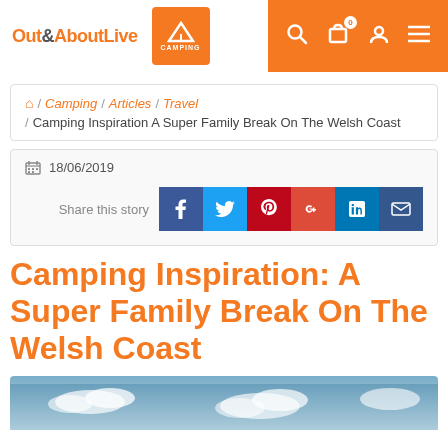Out&AboutLive — CAMPING — navigation header
/ Camping / Articles / Travel / Camping Inspiration A Super Family Break On The Welsh Coast
18/06/2019 — Share this story
Camping Inspiration: A Super Family Break On The Welsh Coast
[Figure (photo): Sky with clouds over Welsh coast landscape, bottom strip of the article page]